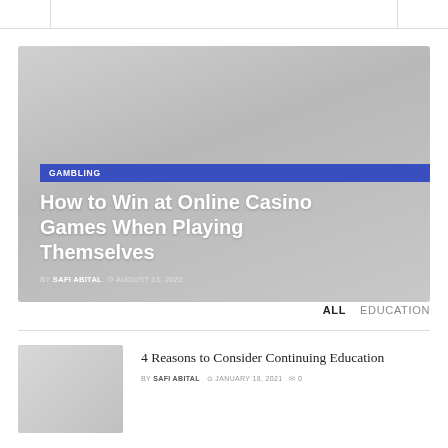[Figure (photo): Featured article banner with gray gradient background showing gambling article card with GAMBLING category tag, title, author and date]
How to Win at Online Casino Games When Playing Themselves
BY SAFI ABITAL  AUGUST 13, 2022
ALL   EDUCATION
[Figure (photo): Thumbnail image for continuing education article, gray placeholder]
4 Reasons to Consider Continuing Education
BY SAFI ABITAL  JANUARY 18, 2021  0